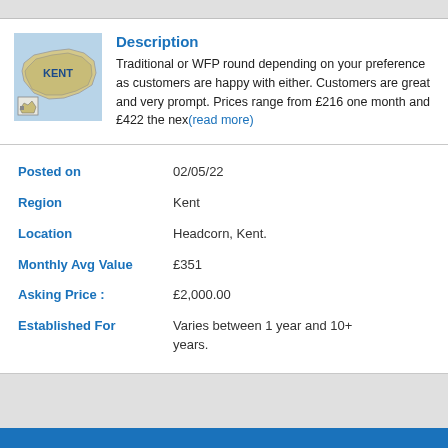[Figure (map): Map of Kent region in England, showing county outline labeled KENT with a small inset showing location within GB]
Description
Traditional or WFP round depending on your preference as customers are happy with either. Customers are great and very prompt. Prices range from £216 one month and £422 the nex(read more)
| Posted on | 02/05/22 |
| Region | Kent |
| Location | Headcorn, Kent. |
| Monthly Avg Value | £351 |
| Asking Price : | £2,000.00 |
| Established For | Varies between 1 year and 10+ years. |